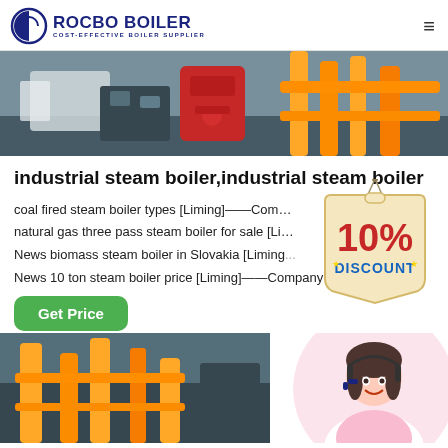ROCBO BOILER — COST-EFFECTIVE BOILER SUPPLIER
[Figure (photo): Industrial boiler equipment photo showing red boiler unit and yellow pipes in a factory setting]
industrial steam boiler,industrial steam boiler
coal fired steam boiler types [Liming]——Company News 2-30...
natural gas three pass steam boiler for sale [Liming]——Company News 2-30...
News biomass steam boiler in Slovakia [Liming]——Company News 2-30...
News 10 ton steam boiler price [Liming]——Company News 2-30...
[Figure (infographic): 10% DISCOUNT badge hanging sign in red and beige]
[Figure (photo): Customer support representative woman with headset smiling, circular crop]
[Figure (photo): Industrial equipment with yellow metal structures at bottom of page]